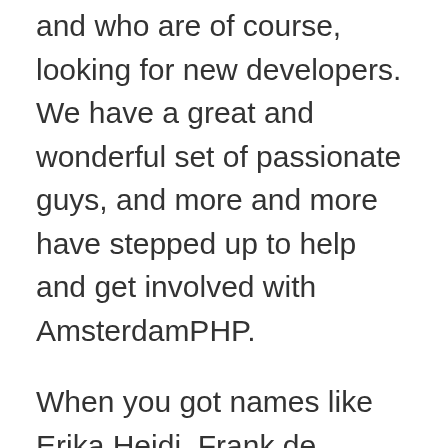and who are of course, looking for new developers. We have a great and wonderful set of passionate guys, and more and more have stepped up to help and get involved with AmsterdamPHP.
When you got names like Erika Heidi, Frank de Jongue and all our active enablers, you can't really go wrong. We even have Ross Tuck